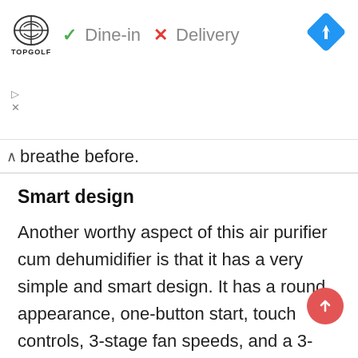[Figure (screenshot): Advertisement banner showing Topgolf logo with checkmark Dine-in and X Delivery options, blue navigation diamond icon, and small play/close icons]
breathe before.
Smart design
Another worthy aspect of this air purifier cum dehumidifier is that it has a very simple and smart design. It has a round appearance, one-button start, touch controls, 3-stage fan speeds, and a 3-stage timer.
You don't even have to keep checking on the